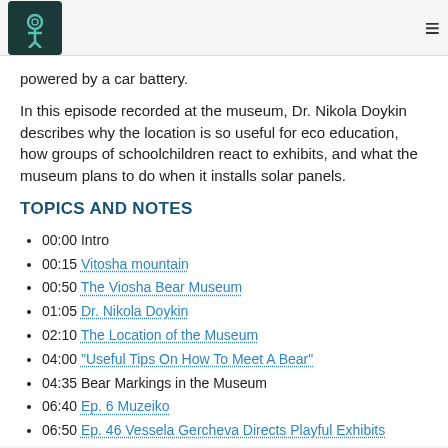[Logo] [Hamburger menu]
powered by a car battery.
In this episode recorded at the museum, Dr. Nikola Doykin describes why the location is so useful for eco education, how groups of schoolchildren react to exhibits, and what the museum plans to do when it installs solar panels.
TOPICS AND NOTES
00:00 Intro
00:15 Vitosha mountain
00:50 The Viosha Bear Museum
01:05 Dr. Nikola Doykin
02:10 The Location of the Museum
04:00 "Useful Tips On How To Meet A Bear"
04:35 Bear Markings in the Museum
06:40 Ep. 6 Muzeiko
06:50 Ep. 46 Vessela Gercheva Directs Playful Exhibits